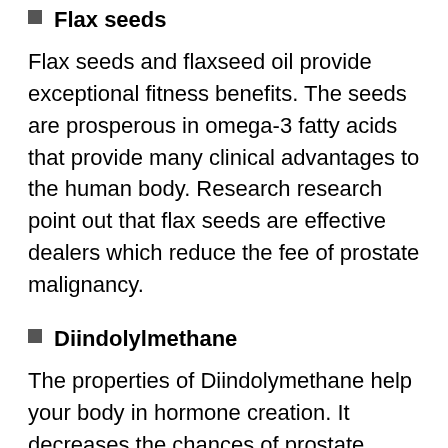Flax seeds
Flax seeds and flaxseed oil provide exceptional fitness benefits. The seeds are prosperous in omega-3 fatty acids that provide many clinical advantages to the human body. Research research point out that flax seeds are effective dealers which reduce the fee of prostate malignancy.
Diindolylmethane
The properties of Diindolymethane help your body in hormone creation. It decreases the chances of prostate growth in men.
Other ingredients
ProstaFlow Plus additionally consists of Phytopin, Maca, Lycopene, Pomegranate separate, Stinging nettle root concentrate, Epimedium and Rye Blossom